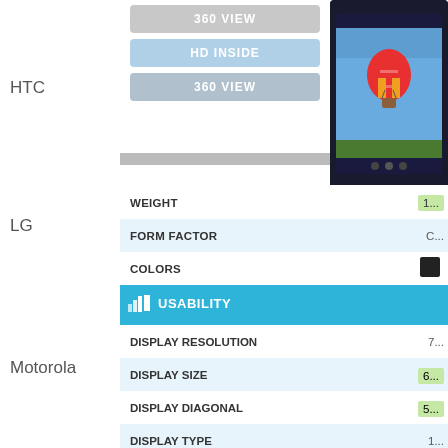HTC
LG
Motorola
Nokia
Samsung
Sony
All Brands
[Figure (screenshot): Phone product page showing buttons: 360 View, HD Inside, 360 View (front), and a smartphone photo]
| Spec | Value |
| --- | --- |
| WEIGHT | 1... |
| FORM FACTOR | C... |
| COLORS |  |
| USABILITY |  |
| DISPLAY RESOLUTION | 7... |
| DISPLAY SIZE | 6... |
| DISPLAY DIAGONAL | 5... |
| DISPLAY TYPE | 1... |
| INPUT | C... |
| TALK TIME |  |
| STANDBY TIME |  |
| OS | A... |
| JAVA | M... |
| VIBRATION | A... |